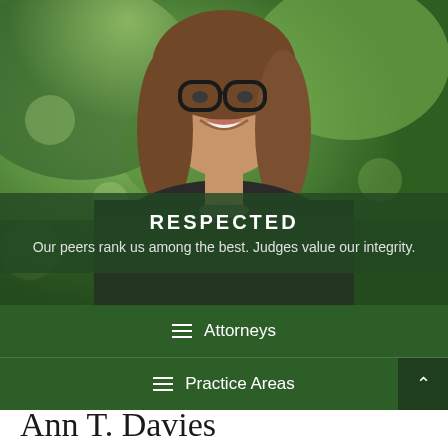[Figure (photo): Professional headshot of a woman with glasses and brown hair, smiling, wearing a dark blazer, with green foliage background]
RESPECTED
Our peers rank us among the best. Judges value our integrity.
Attorneys
Practice Areas
Ann T. Davies
Partner
(608) 807-0752